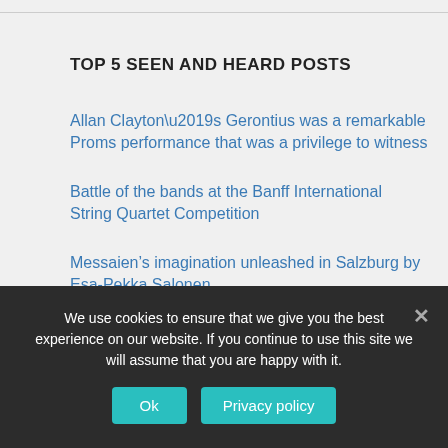TOP 5 SEEN AND HEARD POSTS
Allan Clayton’s Gerontius was a remarkable Proms performance that was a privilege to witness
Battle of the bands at the Banff International String Quartet Competition
Messaien’s imagination unleashed in Salzburg by Esa-Pekka Salonen
Lucerne Festival: Berlin Philharmonic in a class of their own
We use cookies to ensure that we give you the best experience on our website. If you continue to use this site we will assume that you are happy with it.
Ok
Privacy policy